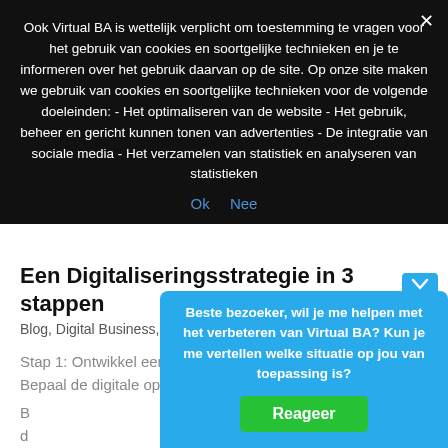Ook Virtual BA is wettelijk verplicht om toestemming te vragen voor het gebruik van cookies en soortgelijke technieken en je te informeren over het gebruik daarvan op de site. Op onze site maken we gebruik van cookies en soortgelijke technieken voor de volgende doeleinden: - Het optimaliseren van de website - Het gebruik, beheer en gericht kunnen tonen van advertenties - De integratie van sociale media - Het verzamelen van statistiek en analyseren van statistieken
Ok   Nee
Een Digitaliseringsstrategie in 3 stappen
Blog, Digital Business, Geen categorie
Stap 1: Ontwikkel een digitaliseringsvisie Stap 2: Bepaal de digitale oplossingsrichting...
Beste bezoeker, wil je me helpen met het verbeteren van Virtual BA? Kun je me vertellen welke situatie op jou van toepassing is?
Reageer